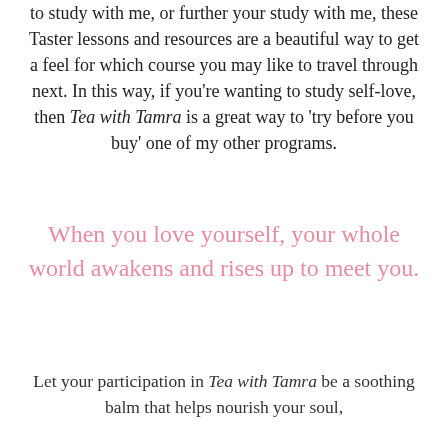to study with me, or further your study with me, these Taster lessons and resources are a beautiful way to get a feel for which course you may like to travel through next. In this way, if you're wanting to study self-love, then Tea with Tamra is a great way to 'try before you buy' one of my other programs.
When you love yourself, your whole world awakens and rises up to meet you.
Let your participation in Tea with Tamra be a soothing balm that helps nourish your soul,